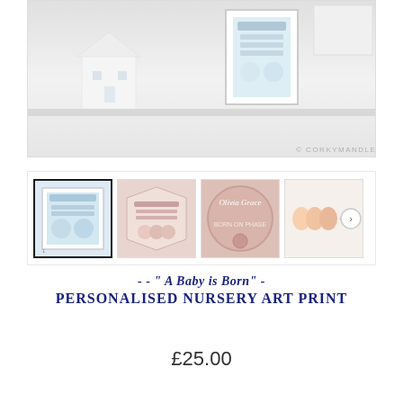[Figure (photo): Product photo showing a white framed nursery art print on a shelf with a white ceramic house decoration. Copyright watermark reads © CORKYMANDLE 2019]
[Figure (photo): Row of four product thumbnail images: (1) framed blue nursery print, (2) pink banner-style birth announcement print, (3) round rose gold birth announcement plaque with name Olivia Grace, (4) egg/bird icons with next arrow button]
- - " A Baby is Born" - Personalised Nursery Art Print
£25.00